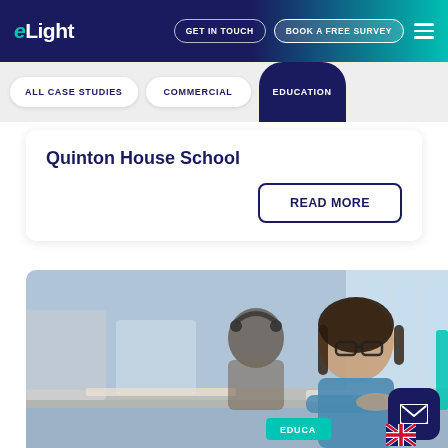eLight — GET IN TOUCH | BOOK A FREE SURVEY
ALL CASE STUDIES
COMMERCIAL
EDUCATION
Quinton House School
READ MORE
[Figure (photo): Students working at computers in a row, woman in foreground wearing glasses and blue top, man with headphones behind her, office/school computer lab setting]
EDUCA